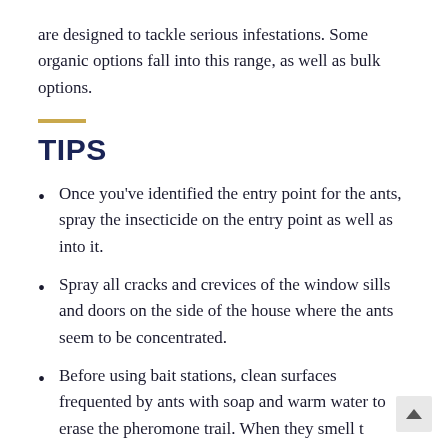are designed to tackle serious infestations. Some organic options fall into this range, as well as bulk options.
TIPS
Once you've identified the entry point for the ants, spray the insecticide on the entry point as well as into it.
Spray all cracks and crevices of the window sills and doors on the side of the house where the ants seem to be concentrated.
Before using bait stations, clean surfaces frequented by ants with soap and warm water to erase the pheromone trail. When they smell t